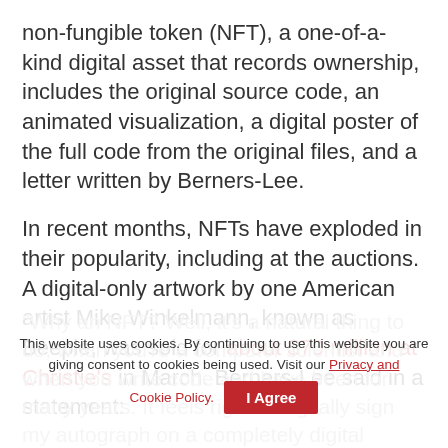non-fungible token (NFT), a one-of-a-kind digital asset that records ownership, includes the original source code, an animated visualization, a digital poster of the full code from the original files, and a letter written by Berners-Lee.
In recent months, NFTs have exploded in their popularity, including at the auctions. A digital-only artwork by one American artist Mike Winkelmann, known as Beeple, was sold for about $70 million at Christie's in March. Berners-Lee said in a statement:
“Why an NFT? Well, it’s a natural thing to do, when you’re a computer scientist and when you write code and have been for many years. It feels right to digitally sign my autograph on a completely digital
This website uses cookies. By continuing to use this website you are giving consent to cookies being used. Visit our Privacy and Cookie Policy.